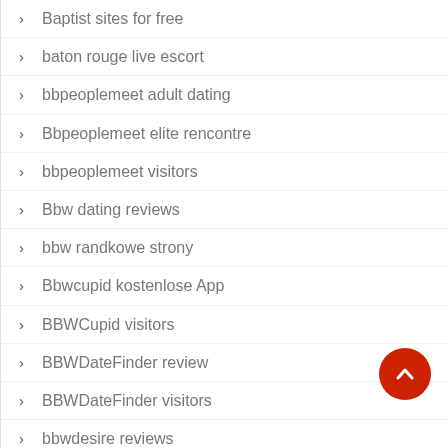Baptist sites for free
baton rouge live escort
bbpeoplemeet adult dating
Bbpeoplemeet elite rencontre
bbpeoplemeet visitors
Bbw dating reviews
bbw randkowe strony
Bbwcupid kostenlose App
BBWCupid visitors
BBWDateFinder review
BBWDateFinder visitors
bbwdesire reviews
BBWdesire vivere
Bdsm dating app reviews
bdsm dating mobile site